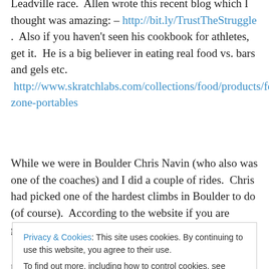Leadville race. Allen wrote this recent blog which I thought was amazing: – http://bit.ly/TrustTheStruggle . Also if you haven't seen his cookbook for athletes, get it. He is a big believer in eating real food vs. bars and gels etc. http://www.skratchlabs.com/collections/food/products/feed-zone-portables
While we were in Boulder Chris Navin (who also was one of the coaches) and I did a couple of rides. Chris had picked one of the hardest climbs in Boulder to do (of course). According to the website if you are going to climb
top and felt light headed with the elevation. The grades
Privacy & Cookies: This site uses cookies. By continuing to use this website, you agree to their use.
To find out more, including how to control cookies, see here: Cookie Policy
Close and accept